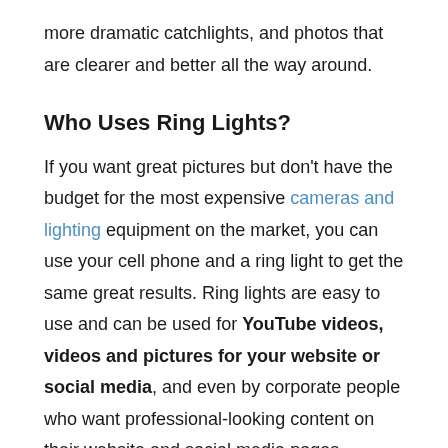more dramatic catchlights, and photos that are clearer and better all the way around.
Who Uses Ring Lights?
If you want great pictures but don't have the budget for the most expensive cameras and lighting equipment on the market, you can use your cell phone and a ring light to get the same great results. Ring lights are easy to use and can be used for YouTube videos, videos and pictures for your website or social media, and even by corporate people who want professional-looking content on their website and social media pages.